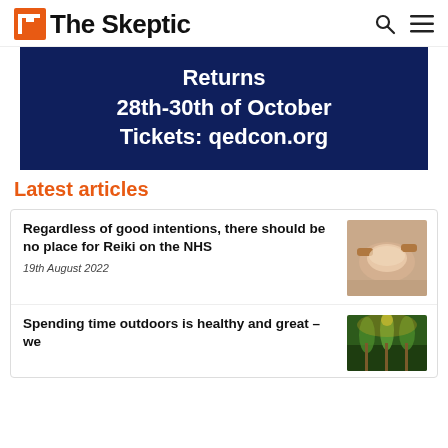The Skeptic
[Figure (infographic): Dark navy blue banner advertisement: Returns 28th-30th of October Tickets: qedcon.org]
Latest articles
Regardless of good intentions, there should be no place for Reiki on the NHS
19th August 2022
[Figure (photo): Person receiving Reiki head massage, eyes closed, hands on head]
Spending time outdoors is healthy and great – we
[Figure (photo): Sunlit forest with trees and greenery]